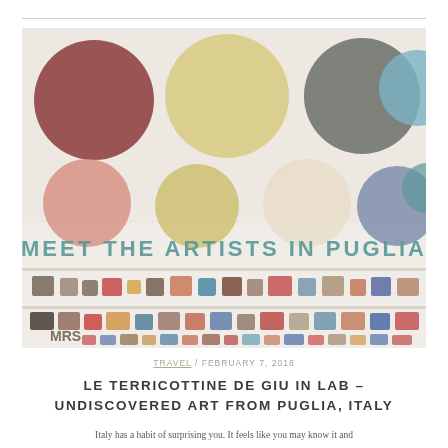[Figure (photo): Colorful ceramic plates and bowls displayed on shelves and wall. Top half shows large circular plates in various colors (maroon, yellow, olive, grey, teal, blue, coral, green) mounted on a white wall. Bottom half shows shelves with small ceramic cups, bowls, and pots in various colors. Text 'MEET THE ARTISTS IN PUGLIA' overlaid in large teal letters across the middle of the image.]
TRAVEL / FEBRUARY 7, 2018
LE TERRICOTTINE DE GIU IN LAB – UNDISCOVERED ART FROM PUGLIA, ITALY
Italy has a habit of surprising you. It feels like you may know it and...